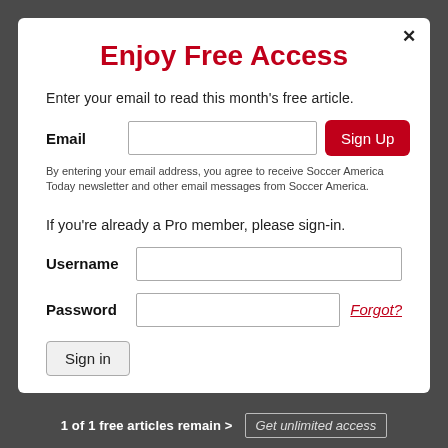Enjoy Free Access
Enter your email to read this month's free article.
Email [input field] Sign Up
By entering your email address, you agree to receive Soccer America Today newsletter and other email messages from Soccer America.
If you're already a Pro member, please sign-in.
Username [input field]
Password [input field] Forgot?
Sign in
1 of 1 free articles remain > Get unlimited access